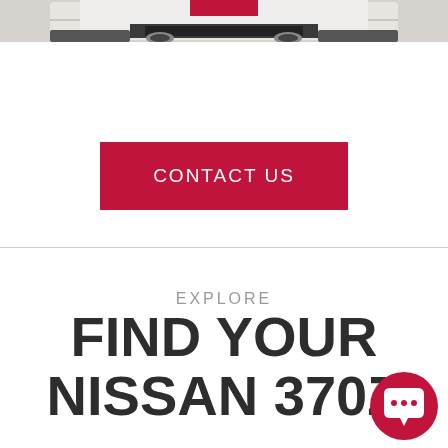[Figure (photo): Cropped rear view of a white Nissan 370Z sports car with a red accent stripe visible at the top of the page]
CONTACT US
EXPLORE
FIND YOUR NISSAN 370Z
[Figure (illustration): Red circular chat bubble icon with white speech bubble symbol]